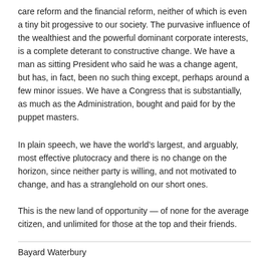care reform and the financial reform, neither of which is even a tiny bit progessive to our society. The purvasive influence of the wealthiest and the powerful dominant corporate interests, is a complete deterant to constructive change. We have a man as sitting President who said he was a change agent, but has, in fact, been no such thing except, perhaps around a few minor issues. We have a Congress that is substantially, as much as the Administration, bought and paid for by the puppet masters.
In plain speech, we have the world’s largest, and arguably, most effective plutocracy and there is no change on the horizon, since neither party is willing, and not motivated to change, and has a stranglehold on our short ones.
This is the new land of opportunity — of none for the average citizen, and unlimited for those at the top and their friends.
Bayard Waterbury